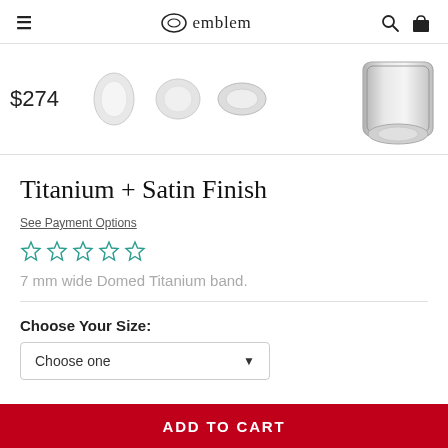emblem
[Figure (photo): Product thumbnail images of titanium rings (three small rotated views plus one large close-up of a domed titanium band) with price $274]
Titanium + Satin Finish
See Payment Options
[Figure (other): Five star rating icons (empty/outline stars in teal/green color)]
7 mm wide Domed Titanium band.
Choose Your Size:
Choose one
ADD TO CART